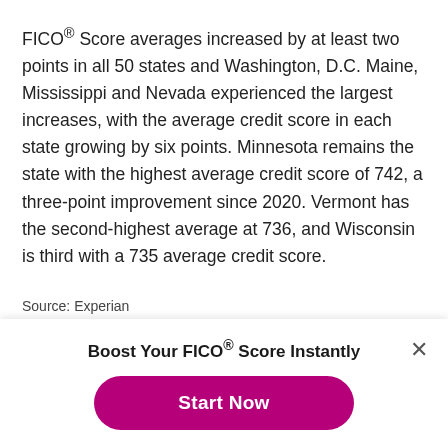FICO® Score averages increased by at least two points in all 50 states and Washington, D.C. Maine, Mississippi and Nevada experienced the largest increases, with the average credit score in each state growing by six points. Minnesota remains the state with the highest average credit score of 742, a three-point improvement since 2020. Vermont has the second-highest average at 736, and Wisconsin is third with a 735 average credit score.
Source: Experian
Boost Your FICO® Score Instantly
Start Now